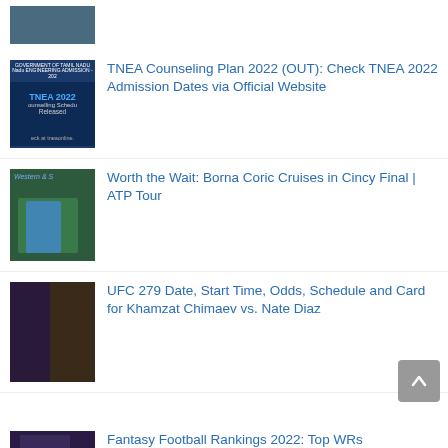[Figure (photo): Partial thumbnail of sports/person image at top]
[Figure (photo): TNEA 2022 Counselling Schedule Released graphic with Government of Tamil Nadu text]
TNEA Counseling Plan 2022 (OUT): Check TNEA 2022 Admission Dates via Official Website
[Figure (photo): Tennis player Borna Coric in action at Western & Southern Open]
Worth the Wait: Borna Coric Cruises in Cincy Final | ATP Tour
[Figure (photo): UFC fighters Khamzat Chimaev and Nate Diaz face-off promotional photo]
UFC 279 Date, Start Time, Odds, Schedule and Card for Khamzat Chimaev vs. Nate Diaz
[Figure (photo): NFL player in purple jersey (Fantasy Football)]
Fantasy Football Rankings 2022: Top WRs